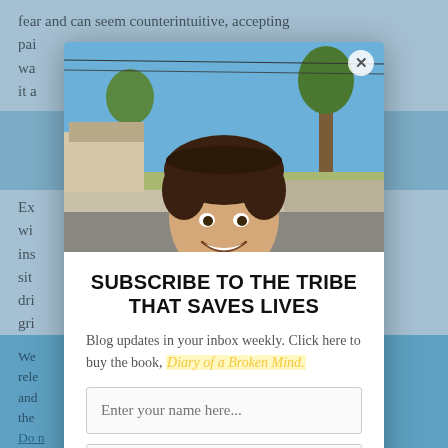fear and can seem counterintuitive, accepting pai... wa... gh it a...
Ex... wi... ins... sit... dri... gri... o
[Figure (photo): Young male teenager smiling outdoors on a suburban street, wearing a white t-shirt with a rainbow design, holding a drink. Trees and sky visible in background. Photo has a close-up, selfie-style angle.]
SUBSCRIBE TO THE TRIBE THAT SAVES LIVES
Blog updates in your inbox weekly. Click here to buy the book, Diary of a Broken Mind.
We... rele... and... the... Do...
Enter your name here...